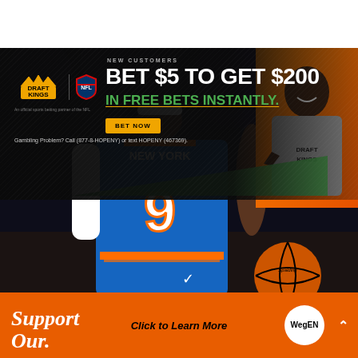[Figure (photo): DraftKings NFL sports betting advertisement banner. Shows a New York Knicks basketball player wearing #9 blue jersey dribbling/holding a Spalding basketball. Dark overlay banner with promotional text. Kevin Hart celebrity spokesperson on orange background on right side.]
NEW CUSTOMERS
BET $5 TO GET $200
IN FREE BETS INSTANTLY.
BET NOW
Gambling Problem? Call (877-8-HOPENY) or text HOPENY (467369).
[Figure (logo): DraftKings logo with crown and NFL shield logo. Text: An official sports betting partner of the NFL]
Support Our
Click to Learn More
[Figure (logo): WegEN circular logo in white circle on orange background]